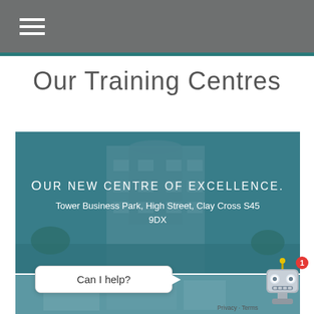Our Training Centres
[Figure (photo): Building photo with teal overlay showing a modern multi-storey office building. Text overlay reads: Our new centre of excellence. Tower Business Park, High Street, Clay Cross S45 9DX]
[Figure (photo): Partial view of another building, bottom banner strip]
Can I help?